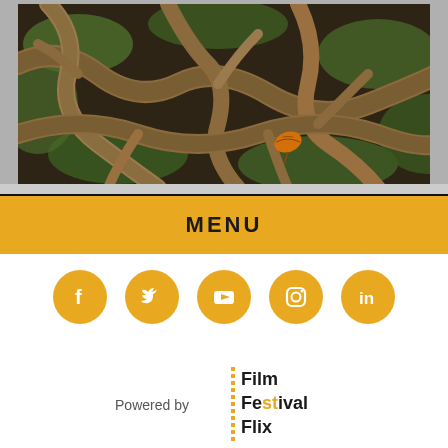[Figure (photo): Close-up photo of twisted tree roots covered with green moss on the ground, with a single orange autumn leaf visible near the center-right.]
MENU
[Figure (infographic): Row of five golden social media icons: Facebook, Twitter, YouTube, Instagram, LinkedIn]
[Figure (logo): Powered by Film Festival Flix logo]